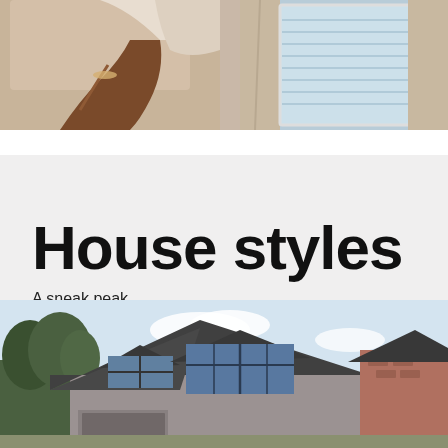[Figure (photo): Partial photo showing a person's legs in boots sitting on a sofa, with a window and curtains in the background. Cropped at the top of the page.]
House styles
A sneak peak
[Figure (photo): Photo of the roofline of a stone and brick house with dormer windows, dark slate roof, and trees in the background.]